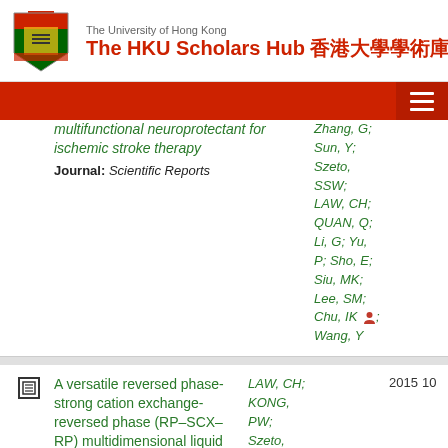The University of Hong Kong — The HKU Scholars Hub 香港大學學術庫
multifunctional neuroprotectant for ischemic stroke therapy
Journal: Scientific Reports
Zhang, G; Sun, Y; Szeto, SSW; LAW, CH; QUAN, Q; Li, G; Yu, P; Sho, E; Siu, MK; Lee, SM; Chu, IK; Wang, Y
A versatile reversed phase-strong cation exchange-reversed phase (RP–SCX–RP) multidimensional liquid chromatography platform for qualitative and quantitative
LAW, CH; KONG, PW; Szeto, SSW;
2015
10